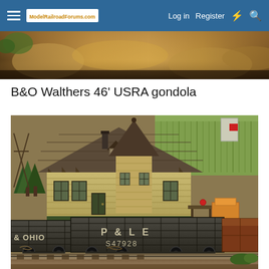ModelRailroadForums.com  Log in  Register
[Figure (photo): Partial banner photo of a model railroad scene showing scenery with earth tones and vegetation]
B&O Walthers 46' USRA gondola
[Figure (photo): Model railroad scene featuring a P&LE gondola car (S47928) and a B&O gondola car passing in front of a detailed model train station building with a gray shingled roof and tower. Additional freight cars visible on the right. Gravel ballast and track visible in foreground. Trees and field scenery in background with distant signs.]